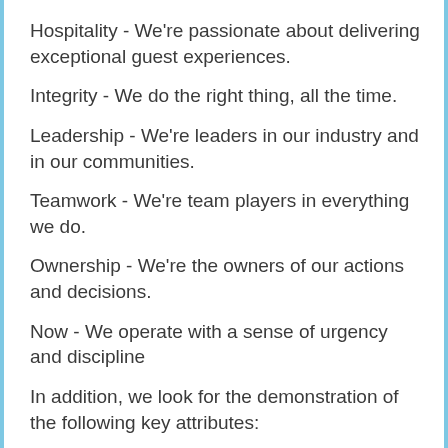Hospitality - We're passionate about delivering exceptional guest experiences.
Integrity - We do the right thing, all the time.
Leadership - We're leaders in our industry and in our communities.
Teamwork - We're team players in everything we do.
Ownership - We're the owners of our actions and decisions.
Now - We operate with a sense of urgency and discipline
In addition, we look for the demonstration of the following key attributes:
Quality
Productivity